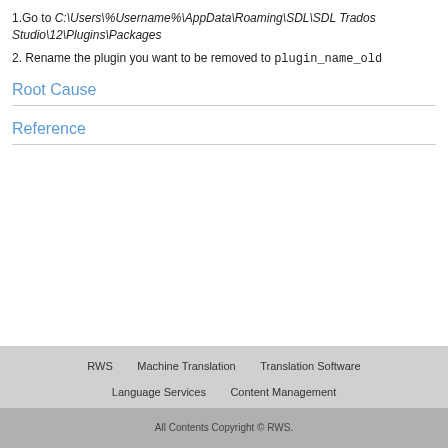1.Go to C:\Users\%Username%\AppData\Roaming\SDL\SDL Trados Studio\12\Plugins\Packages
2. Rename the plugin you want to be removed to plugin_name_old
Root Cause
Reference
RWS   Machine Translation   Translation Software   Language Services   Content Management
All Contents Copyright © RWS.